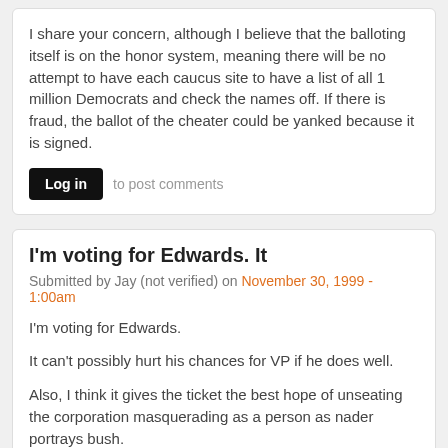I share your concern, although I believe that the balloting itself is on the honor system, meaning there will be no attempt to have each caucus site to have a list of all 1 million Democrats and check the names off. If there is fraud, the ballot of the cheater could be yanked because it is signed.
Log in to post comments
I'm voting for Edwards. It
Submitted by Jay (not verified) on November 30, 1999 - 1:00am
I'm voting for Edwards.

It can't possibly hurt his chances for VP if he does well.

Also, I think it gives the ticket the best hope of unseating the corporation masquerading as a person as nader portrays bush.
Log in to post comments